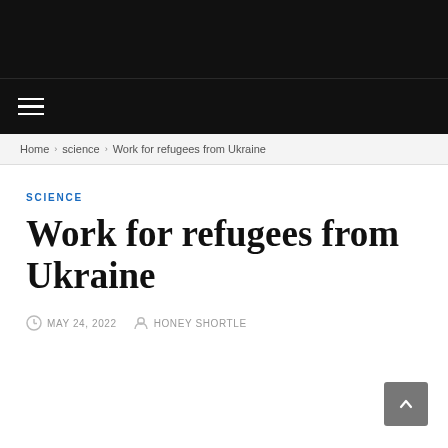≡ (navigation menu)
Home › science › Work for refugees from Ukraine
SCIENCE
Work for refugees from Ukraine
MAY 24, 2022   HONEY SHORTLE